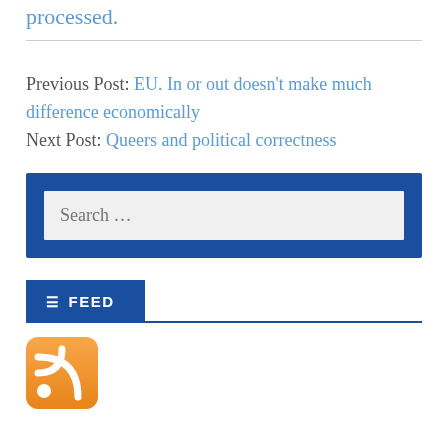processed.
Previous Post: EU. In or out doesn't make much difference economically
Next Post: Queers and political correctness
Search …
FEED
[Figure (logo): RSS feed icon — orange rounded square with white RSS signal waves symbol]